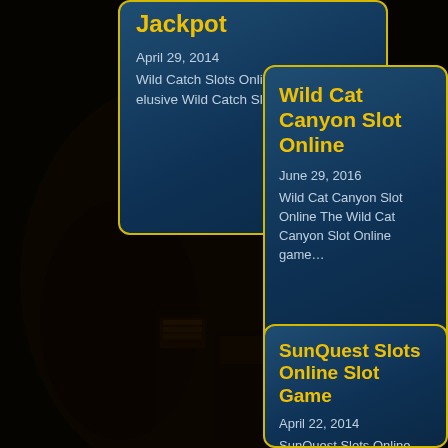[Figure (photo): Dark casino background with slot machines visible in dim lighting]
Jackpot
April 29, 2014
Wild Catch Slots Online Reel in the elusive Wild Catch Slots of…
Wild Cat Canyon Slot Online
June 29, 2016
Wild Cat Canyon Slot Online The Wild Cat Canyon Slot Online game…
SunQuest Slots Online Slot Game
April 22, 2014
SunQuest Slots Online Slot Game…